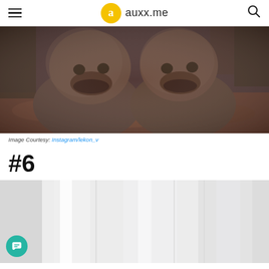auxx.me
[Figure (photo): Two furry monster/creature costumes in a forest with autumn leaves on the ground, looking upward with open mouths]
Image Courtesy: Instagram/lekon_v
#6
[Figure (photo): Interior room with sheer white curtains or drapes near a window, light and airy scene]